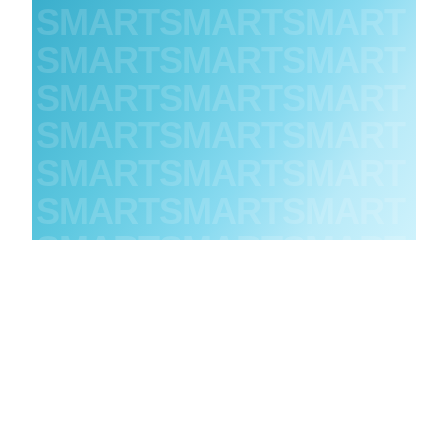[Figure (illustration): Jumia advertisement banner with 'GET SMART' headline and products including smartphone (Samsung A53), TV, and smartwatch on blue background with 'BUY NOW' button]
ntg netbiotechguide — navigation bar with hamburger menu and search icon
Home › Appliances
Appliances
Buying a Pressure Washer: The Ultimate Buyer's Guide